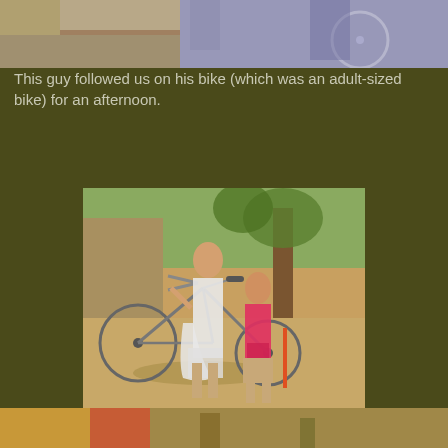[Figure (photo): Top cropped photo showing partial view of bikes and people from above]
This guy followed us on his bike (which was an adult-sized bike) for an afternoon.
[Figure (photo): Two young girls standing next to a large adult-sized bicycle outdoors in a sunny courtyard with trees and a fence in the background. The taller girl in a white dress holds the handlebars; the smaller girl in a pink top and red skirt stands beside her smiling.]
[Figure (photo): Bottom partial photo cropped at page edge showing outdoor scene]